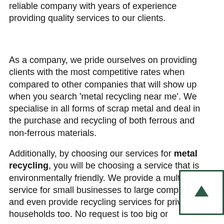reliable company with years of experience providing quality services to our clients.
As a company, we pride ourselves on providing clients with the most competitive rates when compared to other companies that will show up when you search 'metal recycling near me'. We specialise in all forms of scrap metal and deal in the purchase and recycling of both ferrous and non-ferrous materials.
Additionally, by choosing our services for metal recycling, you will be choosing a service that is environmentally friendly. We provide a multi-level service for small businesses to large companies, and even provide recycling services for private households too. No request is too big or